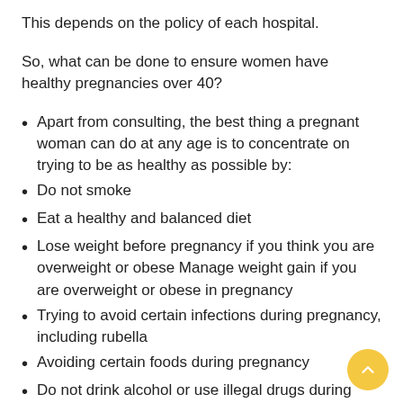This depends on the policy of each hospital.
So, what can be done to ensure women have healthy pregnancies over 40?
Apart from consulting, the best thing a pregnant woman can do at any age is to concentrate on trying to be as healthy as possible by:
Do not smoke
Eat a healthy and balanced diet
Lose weight before pregnancy if you think you are overweight or obese Manage weight gain if you are overweight or obese in pregnancy
Trying to avoid certain infections during pregnancy, including rubella
Avoiding certain foods during pregnancy
Do not drink alcohol or use illegal drugs during pregnancy stay active